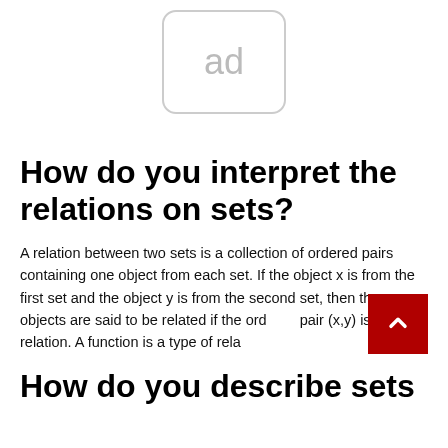[Figure (other): Ad placeholder box with rounded border containing the text 'ad' in gray]
How do you interpret the relations on sets?
A relation between two sets is a collection of ordered pairs containing one object from each set. If the object x is from the first set and the object y is from the second set, then the objects are said to be related if the ordered pair (x,y) is in the relation. A function is a type of rela
How do you describe sets